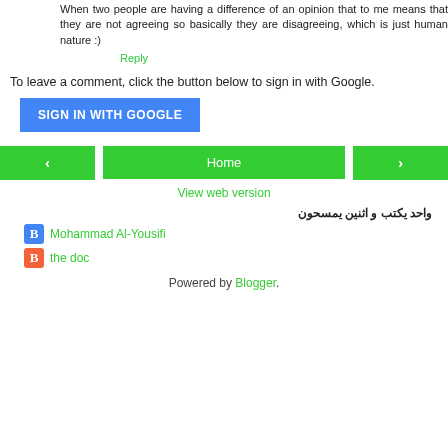When two people are having a difference of an opinion that to me means that they are not agreeing so basically they are disagreeing, which is just human nature :)
Reply
To leave a comment, click the button below to sign in with Google.
SIGN IN WITH GOOGLE
Home
View web version
واحد يكتب و اثنين يمسحون
Mohammad Al-Yousifi
the doc
Powered by Blogger.